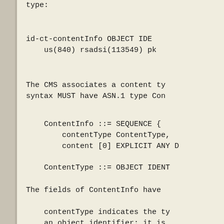The following object identifiers identify the content type:
The CMS associates a content type identifier with a content. The syntax MUST have ASN.1 type ContentInfo:
The fields of ContentInfo have the following meanings:
contentType indicates the type of the associated content. It is an object identifier; it is a unique string of integers assigned by an authority that defines the content type.
content is the associated content. The type of content can be determined uniquely by contentType. Content types for signed-data, enveloped-data, digested-data, encrypted-data, and authenticated-data are defined in this document. The syntax for other content types are defined in other documents.